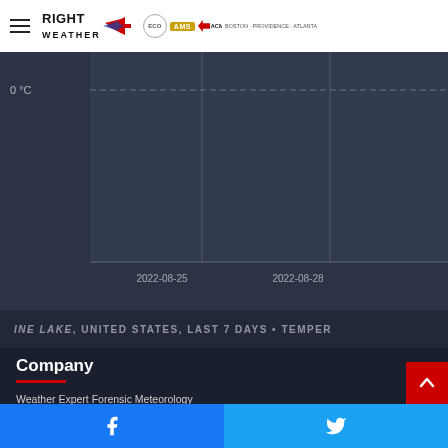Right Weather — navigation header with hamburger menu and partner logos (ACM, AMS, ECO)
[Figure (continuous-plot): Partial temperature chart for Pine Lake, United States, Last 7 Days. Dark grey background chart showing 0°C gridline, x-axis labels 2022-08-25 and 2022-08-28. Chart content is mostly empty/dark with a horizontal dashed gridline at 0°C.]
INE LAKE, UNITED STATES, LAST 7 DAYS • TEMPER
Company
Weather Expert Forensic Meteorology
Private Forecasting Service
Winter Forecasting Services
About Right Weather LLC
Facebook | Twitter social share bar